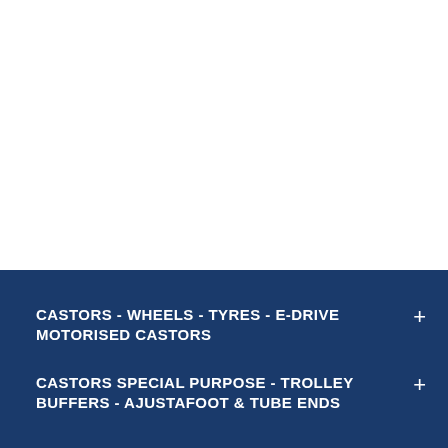[Figure (other): White blank area forming the upper portion of the page]
CASTORS - WHEELS - TYRES - E-DRIVE MOTORISED CASTORS
CASTORS SPECIAL PURPOSE - TROLLEY BUFFERS - AJUSTAFOOT & TUBE ENDS